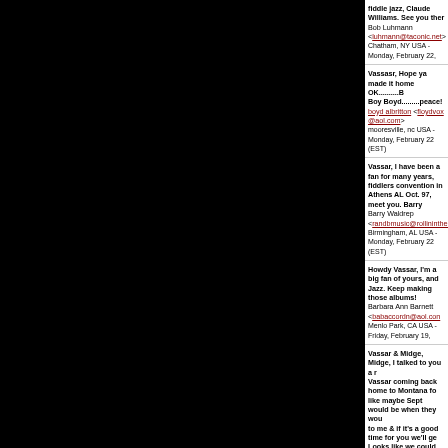fiddle jazz, Claude Williams. See you there Bob Luhmann <luhmann@taconic.net> Chatham, NY USA - Monday, February 22,
Vassasr, Hope ya made it home OK..........Boy Boyd.........peace! boyd albritton <floydvox @aol.com> mooresville, nc USA - Monday, February 22, (EST)
Vassar, I have been a fan for many years, fiddlers convention in Athens AL Oct. 97, meet you. Barry Barry Waldrep <randbmusic@rollininthehay Birmingham, AL USA - Monday, February 22, (EST)
Howdy Vassar, I'm a big fan of yours, and Jazz. Keep making those albums! Barbara Ann Barnett <babaccordn@aol.com Menlo Park, CA USA - Friday, February 19,
Vassar & Midge, Midge, I talked to you a Vassar coming back home to Montana fo like maybe Sept would be when they wou to me & if it's a good time for you we'll ge Looks like we could swing maybe 4. We four piece like we used to or with our 9 p Swing. We could do dates as both as wel Frank Chiaverini, & I would be involved i